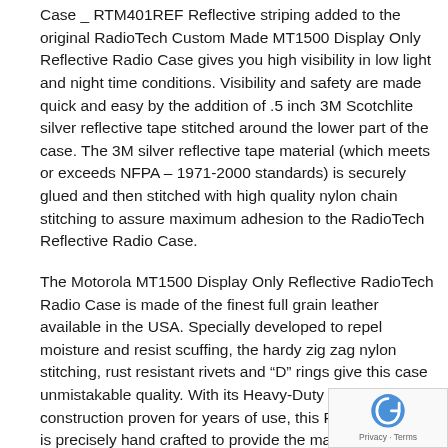Case _ RTM401REF Reflective striping added to the original RadioTech Custom Made MT1500 Display Only Reflective Radio Case gives you high visibility in low light and night time conditions. Visibility and safety are made quick and easy by the addition of .5 inch 3M Scotchlite silver reflective tape stitched around the lower part of the case. The 3M silver reflective tape material (which meets or exceeds NFPA – 1971-2000 standards) is securely glued and then stitched with high quality nylon chain stitching to assure maximum adhesion to the RadioTech Reflective Radio Case.
The Motorola MT1500 Display Only Reflective RadioTech Radio Case is made of the finest full grain leather available in the USA. Specially developed to repel moisture and resist scuffing, the hardy zig zag nylon stitching, rust resistant rivets and "D" rings give this case unmistakable quality. With its Heavy-Duty RadioTech construction proven for years of use, this RadioTech case is precisely hand crafted to provide the maximum protection and